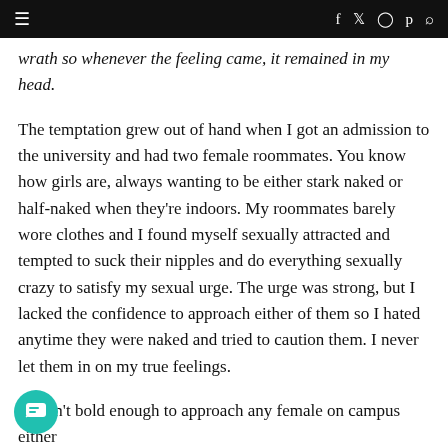≡  f  𝕏  ⊙  𝕡  🔍
wrath so whenever the feeling came, it remained in my head.
The temptation grew out of hand when I got an admission to the university and had two female roommates. You know how girls are, always wanting to be either stark naked or half-naked when they're indoors. My roommates barely wore clothes and I found myself sexually attracted and tempted to suck their nipples and do everything sexually crazy to satisfy my sexual urge. The urge was strong, but I lacked the confidence to approach either of them so I hated anytime they were naked and tried to caution them. I never let them in on my true feelings.
I wasn't bold enough to approach any female on campus either 95 to propose how I felt, so I made it a conscious effort to scrap the idea of being with a lady.